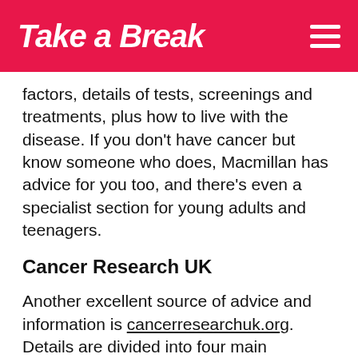Take a Break
factors, details of tests, screenings and treatments, plus how to live with the disease. If you don't have cancer but know someone who does, Macmillan has advice for you too, and there's even a specialist section for young adults and teenagers.
Cancer Research UK
Another excellent source of advice and information is cancerresearchuk.org. Details are divided into four main sections: cancers in general, specific cancer types, coping with cancer, and trials and research. So whatever information you're looking for, you're sure to